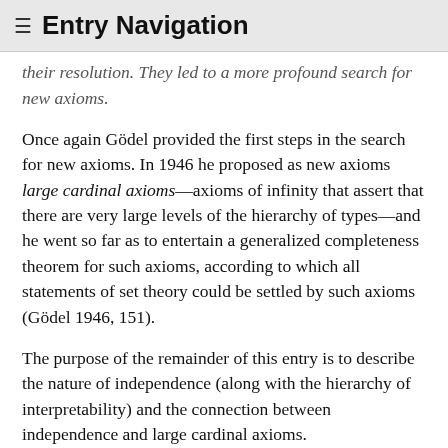≡ Entry Navigation
their resolution. They led to a more profound search for new axioms.
Once again Gödel provided the first steps in the search for new axioms. In 1946 he proposed as new axioms large cardinal axioms—axioms of infinity that assert that there are very large levels of the hierarchy of types—and he went so far as to entertain a generalized completeness theorem for such axioms, according to which all statements of set theory could be settled by such axioms (Gödel 1946, 151).
The purpose of the remainder of this entry is to describe the nature of independence (along with the hierarchy of interpretability) and the connection between independence and large cardinal axioms.
Further Reading: For more on the incompleteness theorems see Smoryński (1977), Buss (1998a), and Lindström (2003). For more on the independence techniques in set theory see Jech (2003) and Kunen